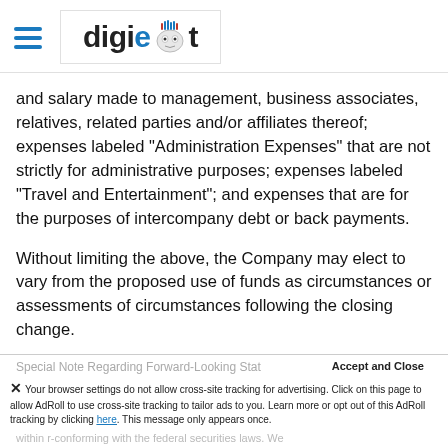digiebot logo with hamburger menu
and salary made to management, business associates, relatives, related parties and/or affiliates thereof; expenses labeled "Administration Expenses" that are not strictly for administrative purposes; expenses labeled "Travel and Entertainment"; and expenses that are for the purposes of intercompany debt or back payments.
Without limiting the above, the Company may elect to vary from the proposed use of funds as circumstances or assessments of circumstances following the closing change.
Special Note Regarding Forward-Looking Stat...
Your browser settings do not allow cross-site tracking for advertising. Click on this page to allow AdRoll to use cross-site tracking to tailor ads to you. Learn more or opt out of this AdRoll tracking by clicking here. This message only appears once.
within r-conforming with the federal securities laws. We